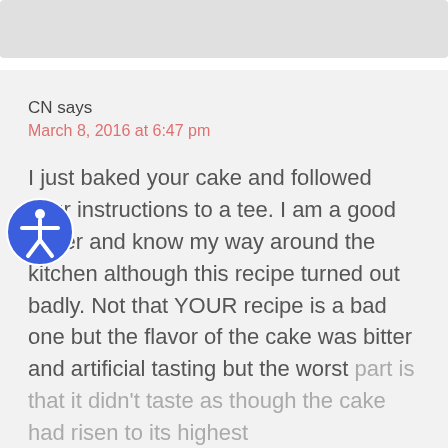CN says
March 8, 2016 at 6:47 pm
I just baked your cake and followed your instructions to a tee. I am a good baker and know my way around the kitchen although this recipe turned out badly. Not that YOUR recipe is a bad one but the flavor of the cake was bitter and artificial tasting but the worst part is that it didn't taste as though the cake had risen to its highest...